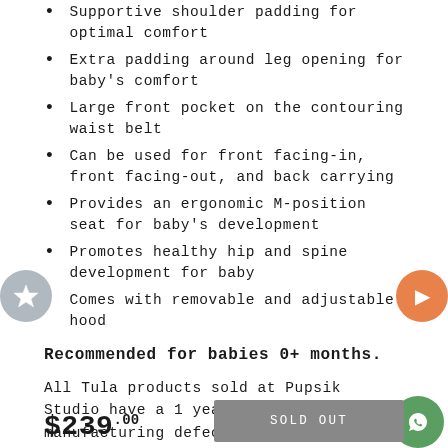Supportive shoulder padding for optimal comfort
Extra padding around leg opening for baby's comfort
Large front pocket on the contouring waist belt
Can be used for front facing-in, front facing-out, and back carrying
Provides an ergonomic M-position seat for baby's development
Promotes healthy hip and spine development for baby
Comes with removable and adjustable hood
Recommended for babies 0+ months.
All Tula products sold at Pupsik Studio have a 1 year warranty against manufacturing defects. Scroll down the page for full warranty terms.
$239.00
SOLD OUT